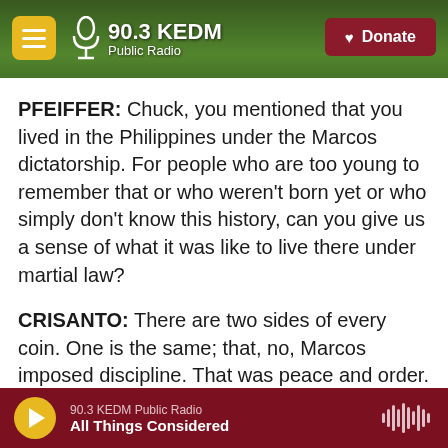90.3 KEDM Public Radio — Donate
PFEIFFER: Chuck, you mentioned that you lived in the Philippines under the Marcos dictatorship. For people who are too young to remember that or who weren't born yet or who simply don't know this history, can you give us a sense of what it was like to live there under martial law?
CRISANTO: There are two sides of every coin. One is the same; that, no, Marcos imposed discipline. That was peace and order. There was actually economic growth. Golden Era would have the Miss Universe pageants, five-star hotels that were built,
90.3 KEDM Public Radio — All Things Considered